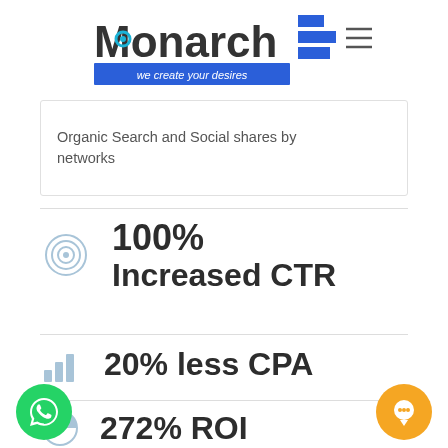[Figure (logo): Monarch logo with tagline 'we create your desires', blue bar chart graphic, and hamburger menu icon]
Organic Search and Social shares by networks
100% Increased CTR
20% less CPA
272% ROI